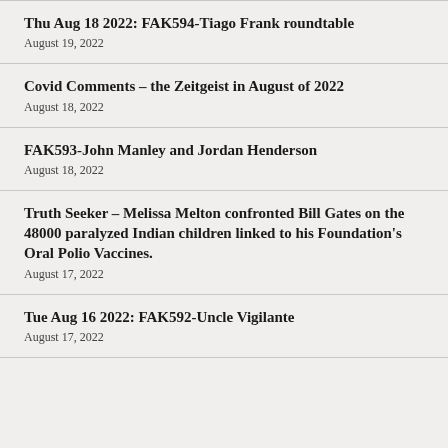Thu Aug 18 2022: FAK594-Tiago Frank roundtable
August 19, 2022
Covid Comments – the Zeitgeist in August of 2022
August 18, 2022
FAK593-John Manley and Jordan Henderson
August 18, 2022
Truth Seeker – Melissa Melton confronted Bill Gates on the 48000 paralyzed Indian children linked to his Foundation's Oral Polio Vaccines.
August 17, 2022
Tue Aug 16 2022: FAK592-Uncle Vigilante
August 17, 2022